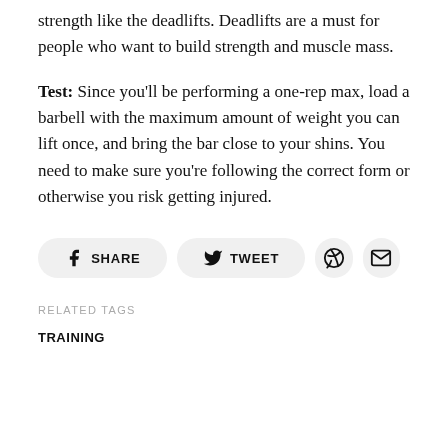strength like the deadlifts. Deadlifts are a must for people who want to build strength and muscle mass.
Test: Since you'll be performing a one-rep max, load a barbell with the maximum amount of weight you can lift once, and bring the bar close to your shins. You need to make sure you're following the correct form or otherwise you risk getting injured.
[Figure (other): Social sharing buttons: Facebook Share, Twitter Tweet, Pinterest icon, Email icon]
RELATED TAGS
TRAINING